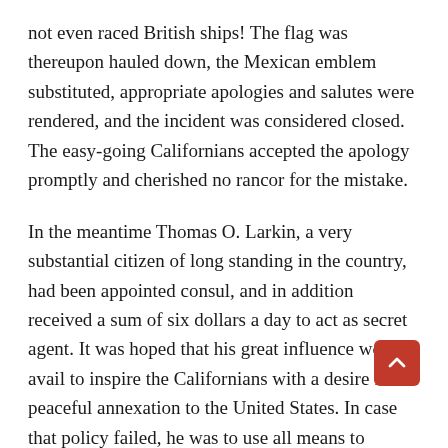not even raced British ships! The flag was thereupon hauled down, the Mexican emblem substituted, appropriate apologies and salutes were rendered, and the incident was considered closed. The easy-going Californians accepted the apology promptly and cherished no rancor for the mistake.
In the meantime Thomas O. Larkin, a very substantial citizen of long standing in the country, had been appointed consul, and in addition received a sum of six dollars a day to act as secret agent. It was hoped that his great influence would avail to inspire the Californians with a desire for peaceful annexation to the United States. In case that policy failed, he was to use all means to separate them from Mexico, and so isolate them from their natural alliances. He was furthermore to persuade them that Engla